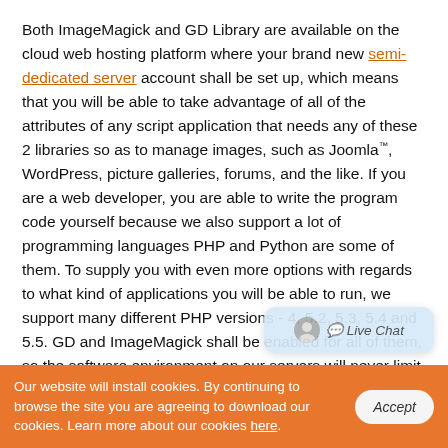Both ImageMagick and GD Library are available on the cloud web hosting platform where your brand new semi-dedicated server account shall be set up, which means that you will be able to take advantage of all of the attributes of any script application that needs any of these 2 libraries so as to manage images, such as Joomla™, WordPress, picture galleries, forums, and the like. If you are a web developer, you are able to write the program code yourself because we also support a lot of programming languages PHP and Python are some of them. To supply you with even more options with regards to what kind of applications you will be able to run, we support many different PHP versions - 4, 5.2, 5.3, 5.4 and 5.5. GD and ImageMagick shall be enabled for all of them, so the software environment on our servers will never limit
[Figure (screenshot): Live chat bubble widget in bottom right corner]
Our website will install cookies. By continuing to browse the site you are agreeing to download our cookies. Learn more about our cookies here.